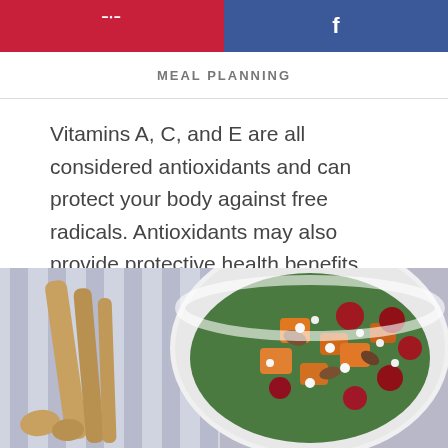[Figure (other): Pinterest and Facebook share buttons bar at top of page]
MEAL PLANNING
Vitamins A, C, and E are all considered antioxidants and can protect your body against free radicals. Antioxidants may also provide protective health benefits against cancer and heart disease.
[Figure (photo): A bowl of salad with greens, orange sweet potato chunks, red grapes, crumbled white cheese and pecans, with wooden salad servers on a striped cloth beside the bowl.]